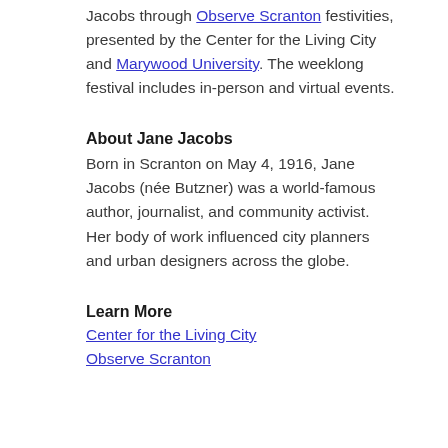Jacobs through Observe Scranton festivities, presented by the Center for the Living City and Marywood University. The weeklong festival includes in-person and virtual events.
About Jane Jacobs
Born in Scranton on May 4, 1916, Jane Jacobs (née Butzner) was a world-famous author, journalist, and community activist. Her body of work influenced city planners and urban designers across the globe.
Learn More
Center for the Living City
Observe Scranton